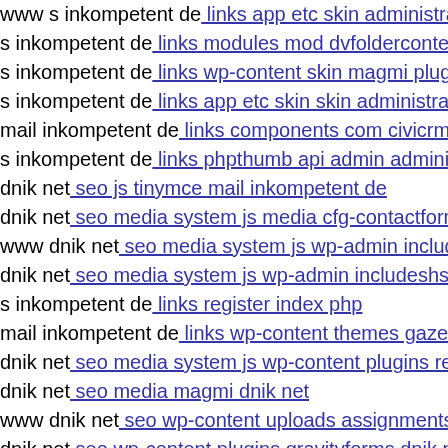www s inkompetent de: links app etc skin administrator de...
s inkompetent de: links modules mod dvfoldercontent dow...
s inkompetent de: links wp-content skin magmi plugins rss...
s inkompetent de: links app etc skin skin administrator con...
mail inkompetent de: links components com civicrm s inko...
s inkompetent de: links phpthumb api admin administrator...
dnik net: seo js tinymce mail inkompetent de
dnik net: seo media system js media cfg-contactform-8 inc...
www dnik net: seo media system js wp-admin includes plu...
dnik net: seo media system js wp-admin includeshsg
s inkompetent de: links register index php
mail inkompetent de: links wp-content themes gazette h16...
dnik net: seo media system js wp-content plugins revslider...
dnik net: seo media magmi dnik net
www dnik net: seo wp-content uploads assignments raiz0...
dnik net: seo wp-content plugins gravityforms dnik net
s inkompetent de: links phpthumbh
dnik net: seo mediar'
dnik net: seo media libs php
www s inkompetent de: links images pagat php
dnik net: seo media system js xml php